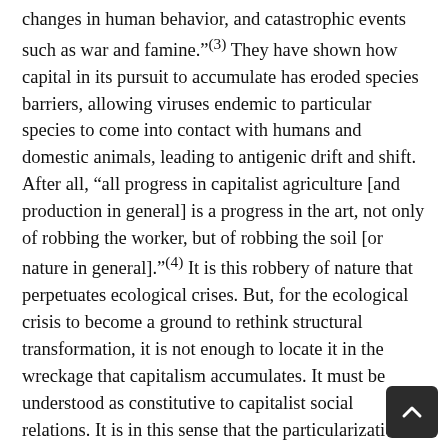changes in human behavior, and catastrophic events such as war and famine.”(3) They have shown how capital in its pursuit to accumulate has eroded species barriers, allowing viruses endemic to particular species to come into contact with humans and domestic animals, leading to antigenic drift and shift. After all, “all progress in capitalist agriculture [and production in general] is a progress in the art, not only of robbing the worker, but of robbing the soil [or nature in general].”(4) It is this robbery of nature that perpetuates ecological crises. But, for the ecological crisis to become a ground to rethink structural transformation, it is not enough to locate it in the wreckage that capitalism accumulates. It must be understood as constitutive to capitalist social relations. It is in this sense that the particularization of these crises in the form of pathogens and impending diseases become crucial. This helps us to understand the ecological rift as central to everyday life and struggle in capitalism, and also to imagine transformatory class politics.